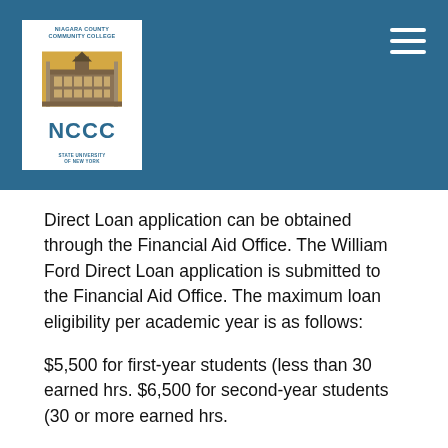[Figure (logo): NCCC Niagara County Community College logo with building illustration and SUNY text, displayed in white box on teal header bar]
Direct Loan application can be obtained through the Financial Aid Office. The William Ford Direct Loan application is submitted to the Financial Aid Office. The maximum loan eligibility per academic year is as follows:
$5,500 for first-year students (less than 30 earned hrs. $6,500 for second-year students (30 or more earned hrs.
All Direct loan applicants must complete the Free Application for Federal Student Aid (FAFSA) and the Federal Stafford loan application to determine loan eligibility. All determinations are evaluated based on current federal regulations. Once an aid package is